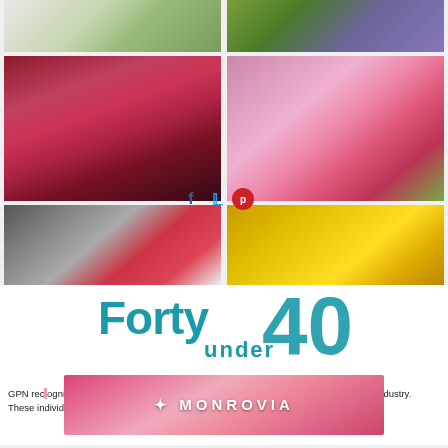[Figure (photo): Six-panel photo grid of flowers and plants: top-left partial white daisy, top-right partial purple orchids, middle-left red/pink caladium leaves, middle-right pink impatiens flowers, bottom-left small red flowers in bowl on patio, bottom-right yellow and white chrysanthemums]
Forty under 40
[Figure (logo): Monrovia nursery advertisement banner with pink echinacea flowers background and MONROVIA logo text in white]
GPN recognizes individuals who are helping to determine the future of the horticulture industry. These individuals are today's movers and shakers who are already setting the